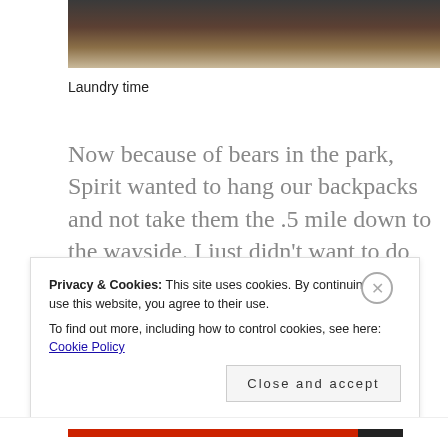[Figure (photo): Partial photo cropped at top, showing dark tones suggesting outdoor/gear scene]
Laundry time
Now because of bears in the park, Spirit wanted to hang our backpacks and not take them the .5 mile down to the wayside. I just didn't want to do that, so I kept my pack on and watched the antics of the ever hysterical throwing of the bear rope over a
Privacy & Cookies: This site uses cookies. By continuing to use this website, you agree to their use.
To find out more, including how to control cookies, see here: Cookie Policy
Close and accept